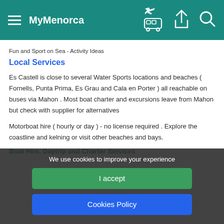MyMenorca
Fun and Sport on Sea - Activity Ideas
Local Services
Es Castell is close to several Water Sports locations and beaches ( Fornells, Punta Prima, Es Grau and Cala en Porter ) all reachable on buses via Mahon . Most boat charter and excursions leave from Mahon but check with supplier for alternatives
Motorboat hire ( hourly or day ) - no license required . Explore the coastline and kelning or visit other beaches and bays.
We use cookies to improve your experience
I accept
Cookies Policy
Boat Hire, Daytrip and Charter Services